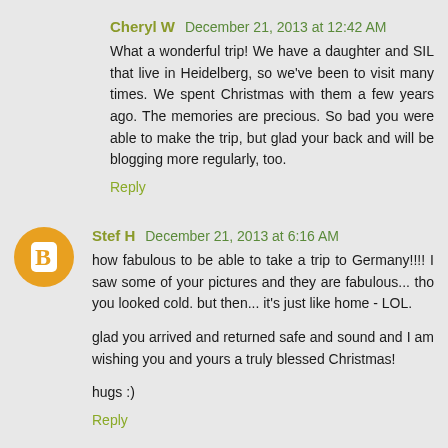Cheryl W December 21, 2013 at 12:42 AM
What a wonderful trip! We have a daughter and SIL that live in Heidelberg, so we've been to visit many times. We spent Christmas with them a few years ago. The memories are precious. So bad you were able to make the trip, but glad your back and will be blogging more regularly, too.
Reply
Stef H December 21, 2013 at 6:16 AM
how fabulous to be able to take a trip to Germany!!!! I saw some of your pictures and they are fabulous... tho you looked cold. but then... it's just like home - LOL.
glad you arrived and returned safe and sound and I am wishing you and yours a truly blessed Christmas!
hugs :)
Reply